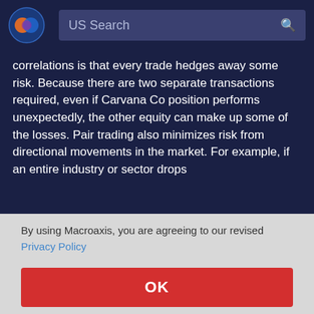US Search
correlations is that every trade hedges away some risk. Because there are two separate transactions required, even if Carvana Co position performs unexpectedly, the other equity can make up some of the losses. Pair trading also minimizes risk from directional movements in the market. For example, if an entire industry or sector drops ... in ... e drop
By using Macroaxis, you are agreeing to our revised Privacy Policy
OK
0.79  ETSY  Pair  Corr  +